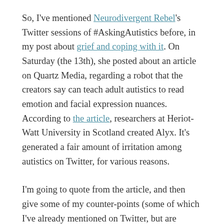So, I've mentioned Neurodivergent Rebel's Twitter sessions of #AskingAutistics before, in my post about grief and coping with it. On Saturday (the 13th), she posted about an article on Quartz Media, regarding a robot that the creators say can teach adult autistics to read emotion and facial expression nuances. According to the article, researchers at Heriot-Watt University in Scotland created Alyx. It's generated a fair amount of irritation among autistics on Twitter, for various reasons.
I'm going to quote from the article, and then give some of my counter-points (some of which I've already mentioned on Twitter, but are expanded here). Because honestly, this is not going to work the way the article claims it will. Here's why (aside from the fact that already a number of autistics are vehemently opposed to it).